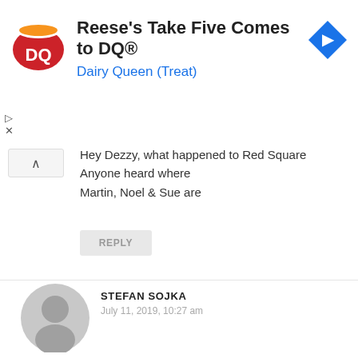[Figure (logo): DQ Dairy Queen logo — red oval with white DQ letters]
Reese's Take Five Comes to DQ®
Dairy Queen (Treat)
[Figure (other): Blue diamond navigation/share icon with right-arrow]
Hey Dezzy, what happened to Red Square
Anyone heard where
Martin, Noel & Sue are
REPLY
[Figure (photo): Default grey user avatar silhouette]
STEFAN SOJKA
July 11, 2019, 10:27 am
Hey Ralph, Memories...! Yeah, Martin was in Broken Toys Mark 1 from 9 December 1982 to 17 April 1983. We split up and then reformed with Peter Clarke on drums exactly a year later, our first gig being 17 April